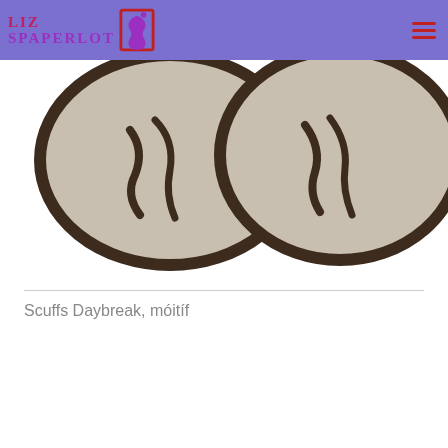Liz Spaperloft
[Figure (photo): Top-down view of two round felt slippers/scuffs in beige/gray color with dark brown decorative motif pattern visible on the soles, shown side by side against a white background.]
Scuffs Daybreak, móitíf